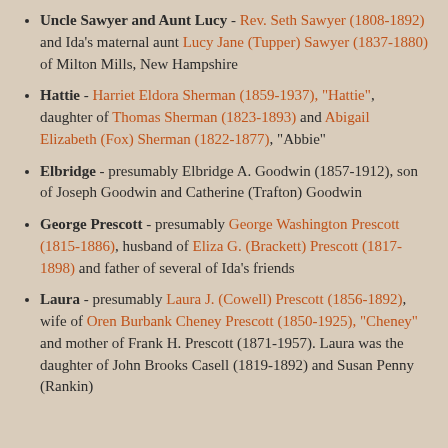Uncle Sawyer and Aunt Lucy - Rev. Seth Sawyer (1808-1892) and Ida's maternal aunt Lucy Jane (Tupper) Sawyer (1837-1880) of Milton Mills, New Hampshire
Hattie - Harriet Eldora Sherman (1859-1937), "Hattie", daughter of Thomas Sherman (1823-1893) and Abigail Elizabeth (Fox) Sherman (1822-1877), "Abbie"
Elbridge - presumably Elbridge A. Goodwin (1857-1912), son of Joseph Goodwin and Catherine (Trafton) Goodwin
George Prescott - presumably George Washington Prescott (1815-1886), husband of Eliza G. (Brackett) Prescott (1817-1898) and father of several of Ida's friends
Laura - presumably Laura J. (Cowell) Prescott (1856-1892), wife of Oren Burbank Cheney Prescott (1850-1925), "Cheney" and mother of Frank H. Prescott (1871-1957). Laura was the daughter of John Brooks Caswell (1819-1892) and Susan Penny (Rankin)...